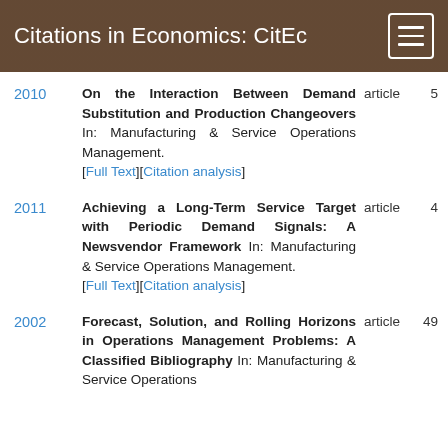Citations in Economics: CitEc
2010 — On the Interaction Between Demand Substitution and Production Changeovers In: Manufacturing & Service Operations Management. [Full Text][Citation analysis] article 5
2011 — Achieving a Long-Term Service Target with Periodic Demand Signals: A Newsvendor Framework In: Manufacturing & Service Operations Management. [Full Text][Citation analysis] article 4
2002 — Forecast, Solution, and Rolling Horizons in Operations Management Problems: A Classified Bibliography In: Manufacturing & Service Operations Management. article 49